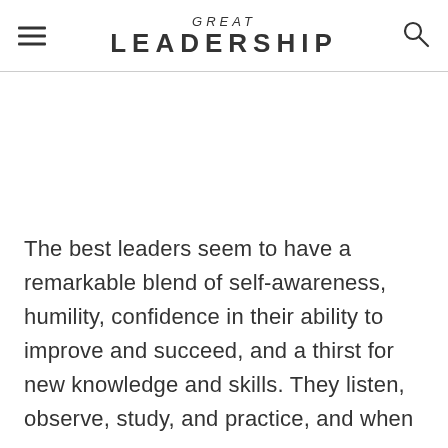GREAT LEADERSHIP
The best leaders seem to have a remarkable blend of self-awareness, humility, confidence in their ability to improve and succeed, and a thirst for new knowledge and skills. They listen, observe, study, and practice, and when